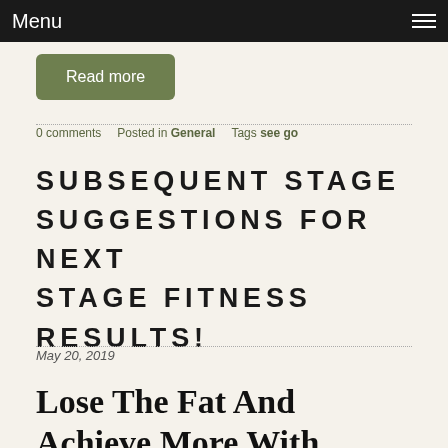Menu
Read more
0 comments   Posted in General   Tags see go
SUBSEQUENT STAGE SUGGESTIONS FOR NEXT STAGE FITNESS RESULTS!
May 20, 2019
Lose The Fat And Achieve More With